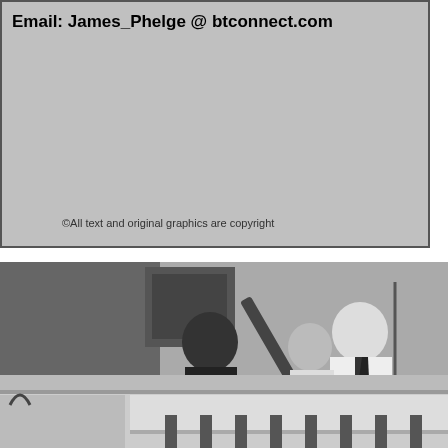Email: James_Phelge @ btconnect.com
©All text and original graphics are copyright
[Figure (photo): Black and white photograph of a band performing at a venue, with audience members watching. A guitarist is visible on the left, a singer in white shirt and tie in the center, and crowd members in the foreground.]
[Figure (photo): Black and white photograph showing the lower portion of a building exterior or interior architectural detail with horizontal railings/bars.]